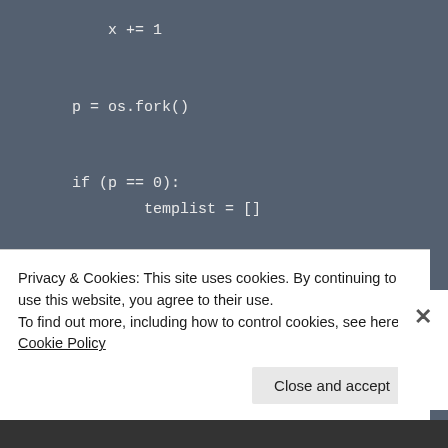[Figure (screenshot): Code editor screenshot showing Python code with dark blue-grey background. Code lines include: x += 1, p = os.fork(), if (p == 0):, templist = [], for x in range(0, 3):, templist.append("h, lbot.readurls(urlnlist=tem, sys.exit(0)]
Privacy & Cookies: This site uses cookies. By continuing to use this website, you agree to their use.
To find out more, including how to control cookies, see here: Cookie Policy